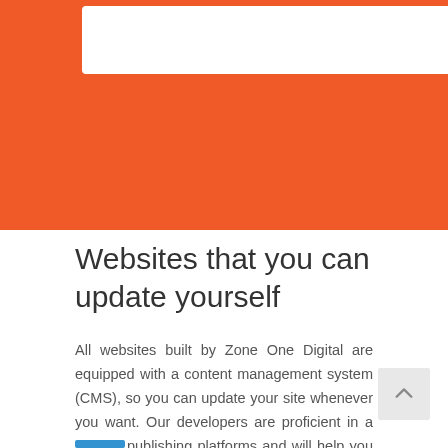[Figure (other): Orange banner header with white rounded rectangle inset at top]
Websites that you can update yourself
All websites built by Zone One Digital are equipped with a content management system (CMS), so you can update your site whenever you want. Our developers are proficient in a several publishing platforms and will help you select the one that best meets your unique needs. We will then customize that CMS to tailor it to your team's strengths and capabilities.